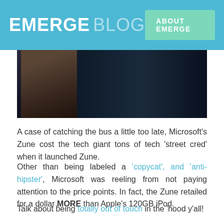EMERGE BLOG | ABOUT EMERGE
[Figure (photo): Dark photo showing a person, mostly shadowed, dark background]
A case of catching the bus a little too late, Microsoft's Zune cost the tech giant tons of tech 'street cred' when it launched Zune.
Other than being labeled a 'copycat', and 'anti-hipster', Microsoft was reeling from not paying attention to the price points. In fact, the Zune retailed for a dollar MORE than Apple's 120GB iPod.
Talk about being totally out of touch in the 'hood y'all!
To be fair, Apple was totally dominating the music scene